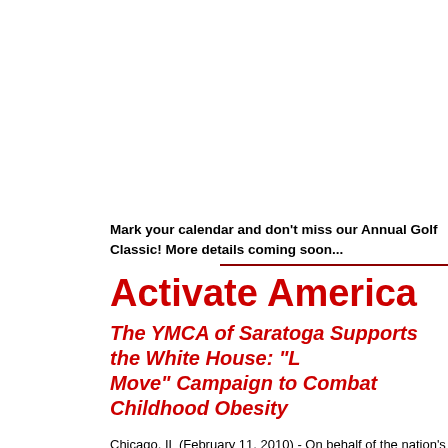Mark your calendar and don't miss our Annual Golf Classic!  More details coming soon...
Activate America
The YMCA of Saratoga Supports the White House: "Let's Move" Campaign to Combat Childhood Obesity
Chicago, IL (February 11, 2010) - On behalf of the nation's 2,687 YMCAs, YMCA of the USA expresses its wholehearted commitment and support for the White House's nationwide campaign "Let's Move," an effort being led by First Lady Michelle Obama to fight childhood obesity.
"YMCAs are committed to building communities where all kids learn, grow and thrive," said Neil Nicoll, President and CEO of YMCA of the USA, "and we join the White House and community leaders to fight childhood obesity, an epidemic that does so much harm to our children